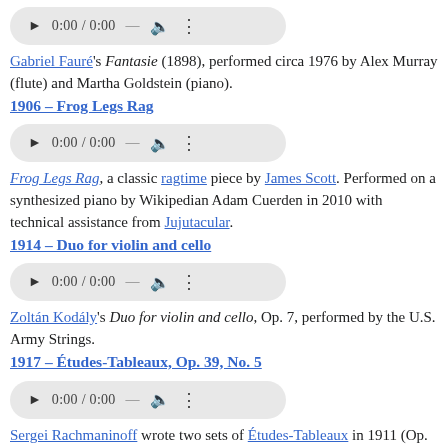[Figure (other): Audio player widget showing 0:00 / 0:00 with play, volume, and more options controls]
Gabriel Fauré's Fantasie (1898), performed circa 1976 by Alex Murray (flute) and Martha Goldstein (piano).
1906 – Frog Legs Rag
[Figure (other): Audio player widget showing 0:00 / 0:00 with play, volume, and more options controls]
Frog Legs Rag, a classic ragtime piece by James Scott. Performed on a synthesized piano by Wikipedian Adam Cuerden in 2010 with technical assistance from Jujutacular.
1914 – Duo for violin and cello
[Figure (other): Audio player widget showing 0:00 / 0:00 with play, volume, and more options controls]
Zoltán Kodály's Duo for violin and cello, Op. 7, performed by the U.S. Army Strings.
1917 – Études-Tableaux, Op. 39, No. 5
[Figure (other): Audio player widget showing 0:00 / 0:00 with play, volume, and more options controls]
Sergei Rachmaninoff wrote two sets of Études-Tableaux in 1911 (Op. 33) and 1917 (Op. 39); this recording is one of the pieces in the second, Opus 39 set. Conceived as "picture pieces", meant to